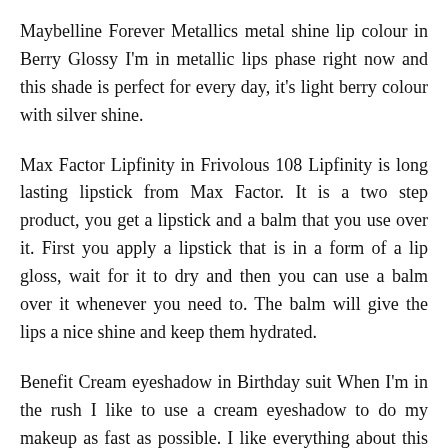Maybelline Forever Metallics metal shine lip colour in Berry Glossy I'm in metallic lips phase right now and this shade is perfect for every day, it's light berry colour with silver shine.
Max Factor Lipfinity in Frivolous 108 Lipfinity is long lasting lipstick from Max Factor. It is a two step product, you get a lipstick and a balm that you use over it. First you apply a lipstick that is in a form of a lip gloss, wait for it to dry and then you can use a balm over it whenever you need to. The balm will give the lips a nice shine and keep them hydrated.
Benefit Cream eyeshadow in Birthday suit When I'm in the rush I like to use a cream eyeshadow to do my makeup as fast as possible. I like everything about this one, texture is amazing, it's pigmented, stays put and the shade looks very...